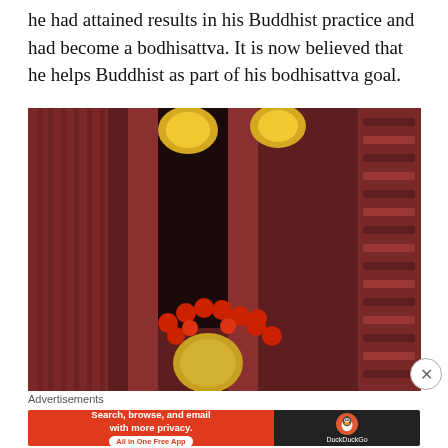he had attained results in his Buddhist practice and had become a bodhisattva. It is now believed that he helps Buddhist as part of his bodhisattva goal.
[Figure (photo): Interior of a Buddhist temple showing ornate red wooden pillars and decorative lattice panels. Golden lotus flower lanterns hang from the ceiling. A gilded statue figure adorned with red pompom decorations is partially visible in the lower portion.]
Advertisements
[Figure (other): DuckDuckGo advertisement banner: 'Search, browse, and email with more privacy. All in One Free App' on orange background, with DuckDuckGo logo on dark background.]